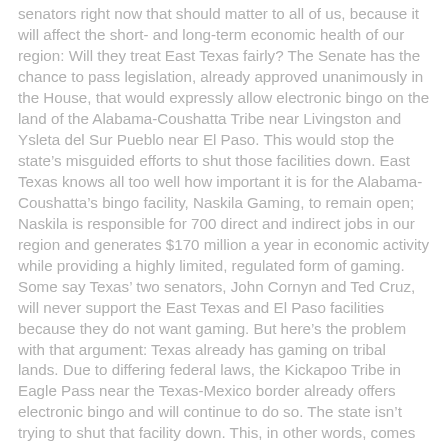senators right now that should matter to all of us, because it will affect the short- and long-term economic health of our region: Will they treat East Texas fairly? The Senate has the chance to pass legislation, already approved unanimously in the House, that would expressly allow electronic bingo on the land of the Alabama-Coushatta Tribe near Livingston and Ysleta del Sur Pueblo near El Paso. This would stop the state's misguided efforts to shut those facilities down. East Texas knows all too well how important it is for the Alabama-Coushatta's bingo facility, Naskila Gaming, to remain open; Naskila is responsible for 700 direct and indirect jobs in our region and generates $170 million a year in economic activity while providing a highly limited, regulated form of gaming. Some say Texas' two senators, John Cornyn and Ted Cruz, will never support the East Texas and El Paso facilities because they do not want gaming. But here's the problem with that argument: Texas already has gaming on tribal lands. Due to differing federal laws, the Kickapoo Tribe in Eagle Pass near the Texas-Mexico border already offers electronic bingo and will continue to do so. The state isn't trying to shut that facility down. This, in other words, comes down to fairness. Why should Eagle Pass reap the community benefits of an electronic bingo facility